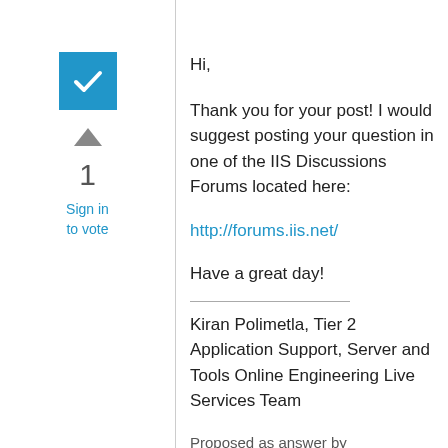[Figure (illustration): Blue checkbox with white checkmark icon]
[Figure (illustration): Gray upward-pointing triangle arrow]
1
Sign in to vote
Hi,
Thank you for your post!  I would suggest posting your question in one of the IIS Discussions Forums located here:
http://forums.iis.net/
Have a great day!
Kiran Polimetla, Tier 2 Application Support, Server and Tools Online Engineering Live Services Team
Proposed as answer by  Kiran Polimetla